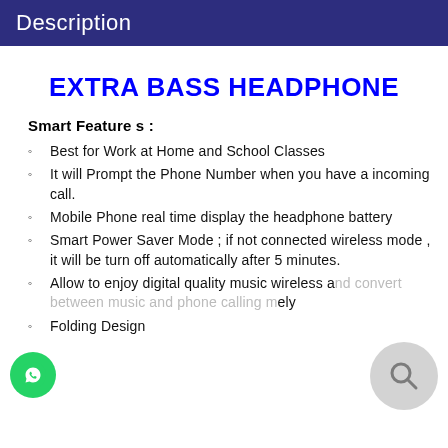Description
EXTRA BASS HEADPHONE
Smart Features :
Best for Work at Home and School Classes
It will Prompt the Phone Number when you have a incoming call.
Mobile Phone real time display the headphone battery
Smart Power Saver Mode ; if not connected wireless mode , it will be turn off automatically after 5 minutes.
Allow to enjoy digital quality music wireless and convert between music and phone calling mode seamlessly
Folding Design